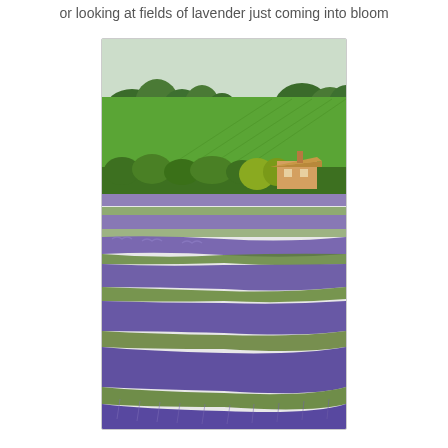or looking at fields of lavender just coming into bloom
[Figure (photo): A photograph of lavender fields in bloom with rows of purple lavender plants in the foreground, green shrubs and a thatched-roof cottage in the middle ground, and a bright green field with trees in the background under an overcast sky.]